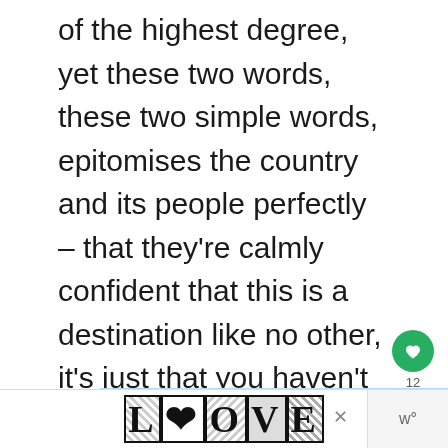of the highest degree, yet these two words, these two simple words, epitomises the country and its people perfectly – that they're calmly confident that this is a destination like no other, it's just that you haven't realised it yet.
[Figure (screenshot): UI overlay with green heart/like button showing count of 12 and a share button]
[Figure (photo): Partial image strip showing blue sky with clouds and partial view of a dark rooftop, with a LOVE advertisement banner at the bottom]